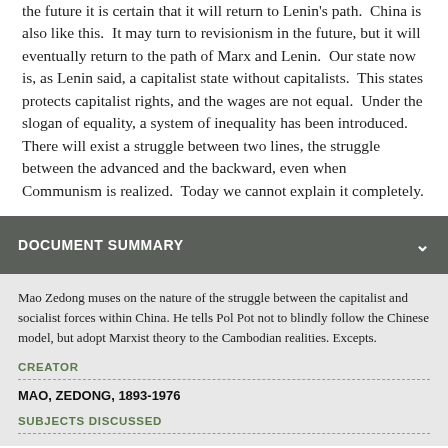the future it is certain that it will return to Lenin's path.  China is also like this.  It may turn to revisionism in the future, but it will eventually return to the path of Marx and Lenin.  Our state now is, as Lenin said, a capitalist state without capitalists.  This states protects capitalist rights, and the wages are not equal.  Under the slogan of equality, a system of inequality has been introduced.  There will exist a struggle between two lines, the struggle between the advanced and the backward, even when Communism is realized.  Today we cannot explain it completely.
DOCUMENT SUMMARY
Mao Zedong muses on the nature of the struggle between the capitalist and socialist forces within China. He tells Pol Pot not to blindly follow the Chinese model, but adopt Marxist theory to the Cambodian realities. Excepts.
CREATOR
MAO, ZEDONG, 1893-1976
SUBJECTS DISCUSSED